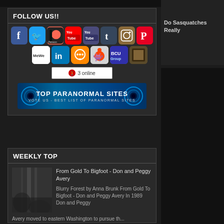FOLLOW US!!
[Figure (infographic): Social media icons: Facebook, Twitter, Patreon, YouTube (x2), Tumblr, Instagram, Pinterest, MeWe, LinkedIn, Chat, Reddit, BCU Group, Book]
3 online
[Figure (infographic): Top Paranormal Sites banner - Vote us - Best list of paranormal sites]
WEEKLY TOP
[Figure (photo): Blurry forest black and white photo]
From Gold To Bigfoot - Don and Peggy Avery
Blurry Forest by Anna Brunk From Gold To Bigfoot - Don and Peggy Avery In 1989 Don and Peggy Avery moved to eastern Washington to pursue th...
Do Sasquatches Really